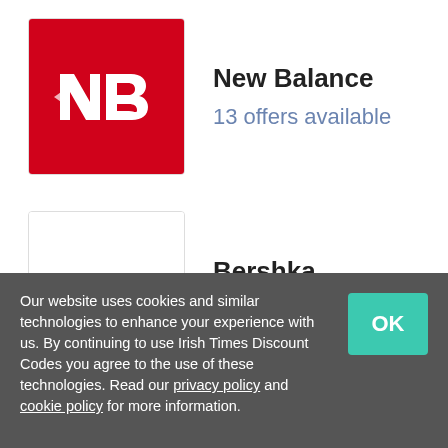[Figure (logo): New Balance red logo with white NB monogram]
New Balance
13 offers available
[Figure (logo): Bershka text logo in white box]
Bershka
12 offers available
Revice Denim Offers
Codes    3
Deals    1
Our website uses cookies and similar technologies to enhance your experience with us. By continuing to use Irish Times Discount Codes you agree to the use of these technologies. Read our privacy policy and cookie policy for more information.